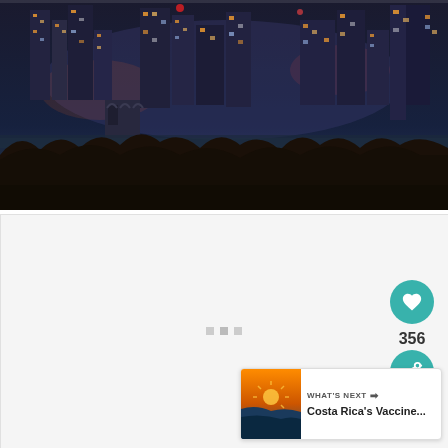[Figure (photo): Nighttime city skyline panorama with illuminated buildings, trees in foreground, dark blue sky]
[Figure (screenshot): Light gray content area with three small gray square dots in center, representing a loading or media placeholder]
[Figure (infographic): Teal circular heart/like button showing 356 likes, teal share button, and a 'WHAT'S NEXT' card showing a thumbnail of Costa Rica landscape with text 'Costa Rica's Vaccine...']